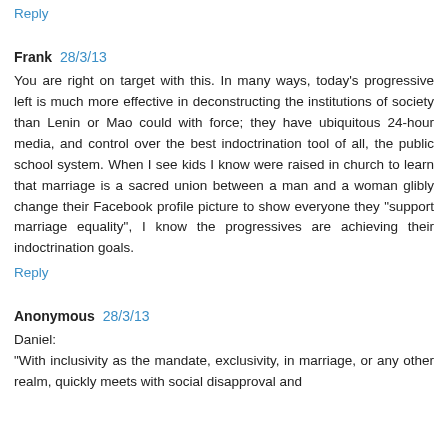Reply
Frank 28/3/13
You are right on target with this. In many ways, today's progressive left is much more effective in deconstructing the institutions of society than Lenin or Mao could with force; they have ubiquitous 24-hour media, and control over the best indoctrination tool of all, the public school system. When I see kids I know were raised in church to learn that marriage is a sacred union between a man and a woman glibly change their Facebook profile picture to show everyone they "support marriage equality", I know the progressives are achieving their indoctrination goals.
Reply
Anonymous 28/3/13
Daniel:
"With inclusivity as the mandate, exclusivity, in marriage, or any other realm, quickly meets with social disapproval and